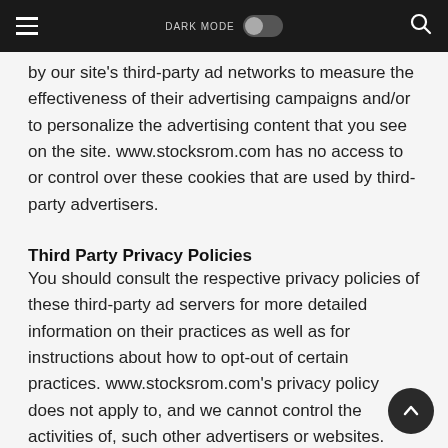DARK MODE [toggle] [search]
by our site's third-party ad networks to measure the effectiveness of their advertising campaigns and/or to personalize the advertising content that you see on the site. www.stocksrom.com has no access to or control over these cookies that are used by third-party advertisers.
Third Party Privacy Policies
You should consult the respective privacy policies of these third-party ad servers for more detailed information on their practices as well as for instructions about how to opt-out of certain practices. www.stocksrom.com's privacy policy does not apply to, and we cannot control the activities of, such other advertisers or websites.
If you wish to disable cookies, you may do so through